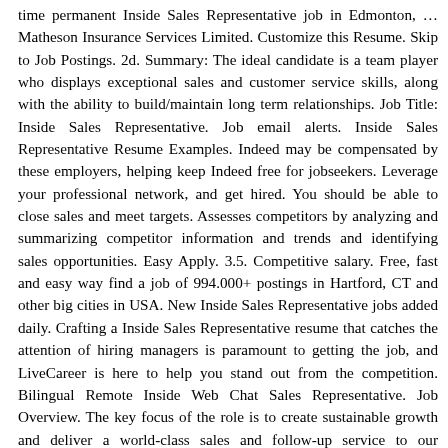time permanent Inside Sales Representative job in Edmonton, … Matheson Insurance Services Limited. Customize this Resume. Skip to Job Postings. 2d. Summary: The ideal candidate is a team player who displays exceptional sales and customer service skills, along with the ability to build/maintain long term relationships. Job Title: Inside Sales Representative. Job email alerts. Inside Sales Representative Resume Examples. Indeed may be compensated by these employers, helping keep Indeed free for jobseekers. Leverage your professional network, and get hired. You should be able to close sales and meet targets. Assesses competitors by analyzing and summarizing competitor information and trends and identifying sales opportunities. Easy Apply. 3.5. Competitive salary. Free, fast and easy way find a job of 994.000+ postings in Hartford, CT and other big cities in USA. New Inside Sales Representative jobs added daily. Crafting a Inside Sales Representative resume that catches the attention of hiring managers is paramount to getting the job, and LiveCareer is here to help you stand out from the competition. Bilingual Remote Inside Web Chat Sales Representative. Job Overview. The key focus of the role is to create sustainable growth and deliver a world-class sales and follow-up service to our customers adhering to the Inside Sales value proposition, and creating strong partnerships with our customers. Inside Sales Representative jobs. Today's top 171 Inside Sales Representative jobs in United Kingdom. As Inside Sales Representative you are part of an international, centralized,